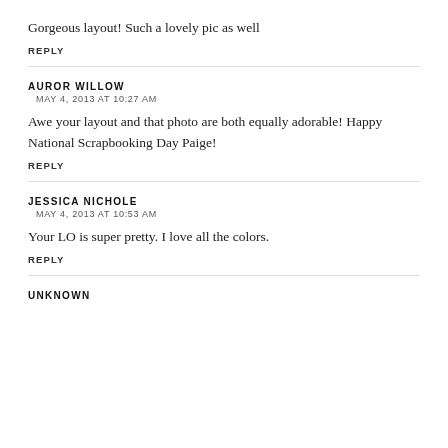Gorgeous layout! Such a lovely pic as well
REPLY
AUROR WILLOW
MAY 4, 2013 AT 10:27 AM
Awe your layout and that photo are both equally adorable! Happy National Scrapbooking Day Paige!
REPLY
JESSICA NICHOLE
MAY 4, 2013 AT 10:53 AM
Your LO is super pretty. I love all the colors.
REPLY
UNKNOWN